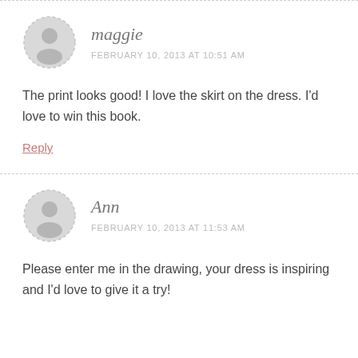[Figure (illustration): Gray circular user avatar icon with dashed border for commenter maggie]
maggie
FEBRUARY 10, 2013 AT 10:51 AM
The print looks good! I love the skirt on the dress. I'd love to win this book.
Reply
[Figure (illustration): Gray circular user avatar icon with dashed border for commenter Ann]
Ann
FEBRUARY 10, 2013 AT 11:53 AM
Please enter me in the drawing, your dress is inspiring and I'd love to give it a try!